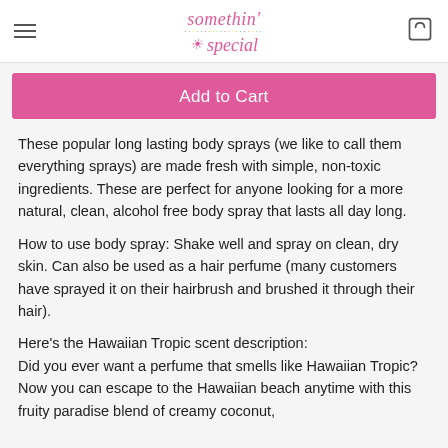somethin' special
Add to Cart
These popular long lasting body sprays (we like to call them everything sprays) are made fresh with simple, non-toxic ingredients. These are perfect for anyone looking for a more natural, clean, alcohol free body spray that lasts all day long.
How to use body spray: Shake well and spray on clean, dry skin. Can also be used as a hair perfume (many customers have sprayed it on their hairbrush and brushed it through their hair).
Here's the Hawaiian Tropic scent description:
Did you ever want a perfume that smells like Hawaiian Tropic? Now you can escape to the Hawaiian beach anytime with this fruity paradise blend of creamy coconut,